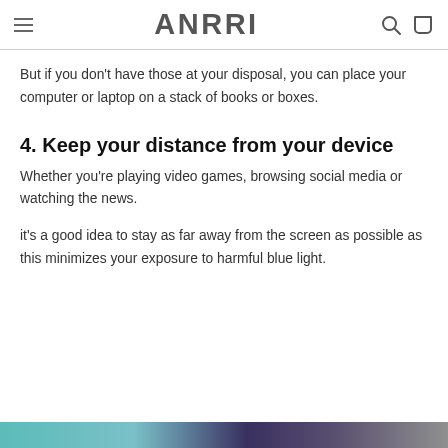ANRRI
But if you don't have those at your disposal, you can place your computer or laptop on a stack of books or boxes.
4. Keep your distance from your device
Whether you're playing video games, browsing social media or watching the news.
it's a good idea to stay as far away from the screen as possible as this minimizes your exposure to harmful blue light.
[Figure (photo): Colorful image strip at bottom of page, partially visible]